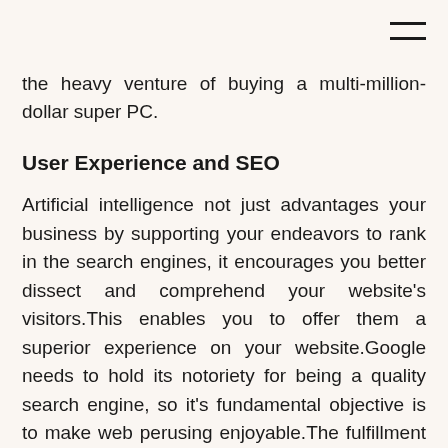the heavy venture of buying a multi-million-dollar super PC.
User Experience and SEO
Artificial intelligence not just advantages your business by supporting your endeavors to rank in the search engines, it encourages you better dissect and comprehend your website’s visitors.This enables you to offer them a superior experience on your website.Google needs to hold its notoriety for being a quality search engine, so it’s fundamental objective is to make web perusing enjoyable.The fulfillment and delight in web users might be met if users are given search